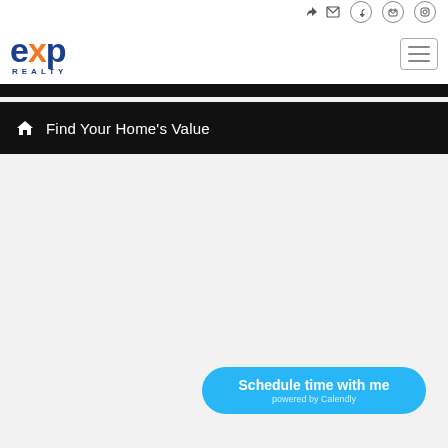eXp Realty - Find Your Home's Value
[Figure (logo): eXp Realty logo with orange X and blue text, REALTY subtitle]
Find Your Home's Value
Schedule time with me
powered by Calendly